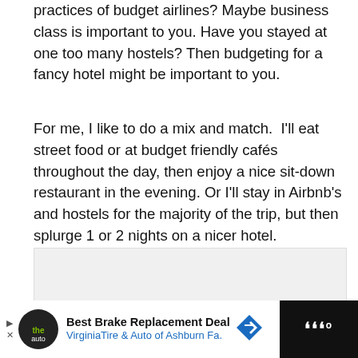practices of budget airlines? Maybe business class is important to you. Have you stayed at one too many hostels? Then budgeting for a fancy hotel might be important to you.
For me, I like to do a mix and match.  I'll eat street food or at budget friendly cafés throughout the day, then enjoy a nice sit-down restaurant in the evening. Or I'll stay in Airbnb's and hostels for the majority of the trip, but then splurge 1 or 2 nights on a nicer hotel.
[Figure (other): Gray placeholder box for an image or advertisement]
Best Brake Replacement Deal  VirginiaTire & Auto of Ashburn Fa.